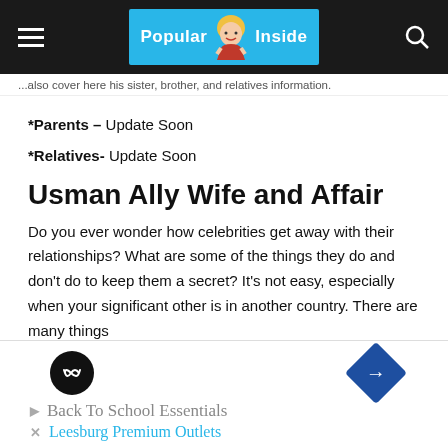Popular Inside
...also cover here his sister, brother, and relatives information.
*Parents – Update Soon
*Relatives- Update Soon
Usman Ally Wife and Affair
Do you ever wonder how celebrities get away with their relationships? What are some of the things they do and don't do to keep them a secret? It's not easy, especially when your significant other is in another country. There are many things
[Figure (infographic): Advertisement overlay with two icons (black circle with infinity-like symbol, blue diamond with arrow), showing 'Back To School Essentials' and 'Leesburg Premium Outlets' ad text]